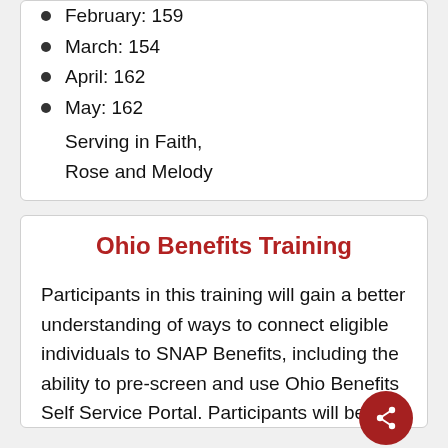February: 159
March: 154
April: 162
May: 162
Serving in Faith, Rose and Melody
Ohio Benefits Training
Participants in this training will gain a better understanding of ways to connect eligible individuals to SNAP Benefits, including the ability to pre-screen and use Ohio Benefits Self Service Portal. Participants will be able